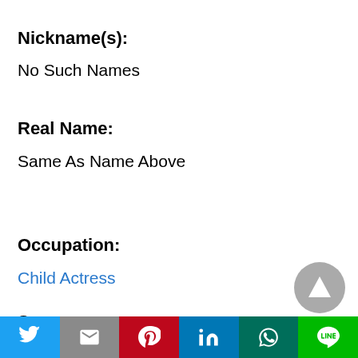Nickname(s):
No Such Names
Real Name:
Same As Name Above
Occupation:
Child Actress
Sex:
Female
[Figure (other): Scroll to top button - circular grey button with upward triangle arrow]
Social sharing bar with Twitter, Gmail, Pinterest, LinkedIn, WhatsApp, Line buttons